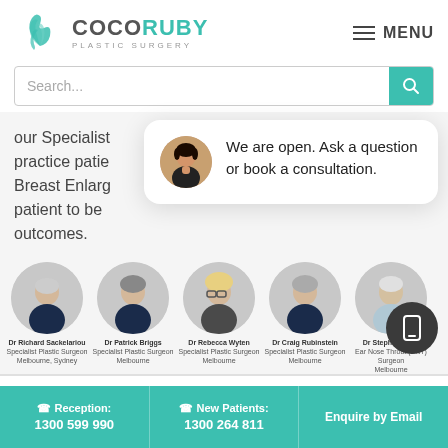[Figure (logo): CocoRuby Plastic Surgery logo with teal leaf graphic and text]
MENU
Search...
close
our Specialist practice patient Breast Enlarg patient to best outcomes.
[Figure (illustration): Chat popup with female avatar and text: We are open. Ask a question or book a consultation.]
[Figure (photo): Five circular doctor profile photos in a row]
Dr Richard Sackelariou
Specialist Plastic Surgeon
Melbourne, Sydney
Dr Patrick Briggs
Specialist Plastic Surgeon
Melbourne
Dr Rebecca Wyten
Specialist Plastic Surgeon
Melbourne
Dr Craig Rubinstein
Specialist Plastic Surgeon
Melbourne
Dr Stephen Kleid
Ear Nose Throat (ENT) Surgeon
Melbourne
Reception: 1300 599 990
New Patients: 1300 264 811
Enquire by Email